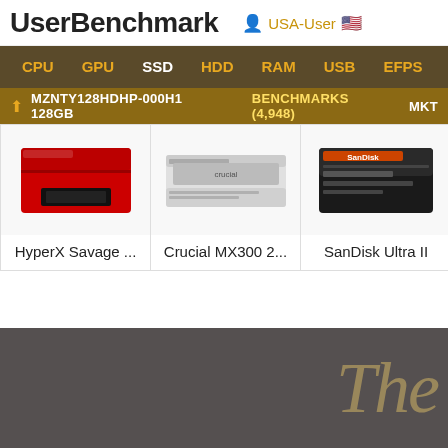UserBenchmark — USA-User
CPU  GPU  SSD  HDD  RAM  USB  EFPS  FPS  Sk
↑ MZNTY128HDHP-000H1 128GB   BENCHMARKS (4,948)   MKT
[Figure (screenshot): HyperX Savage product image (red/black device)]
HyperX Savage ...
[Figure (screenshot): Crucial MX300 product image (white/grey drive)]
Crucial MX300 2...
[Figure (screenshot): SanDisk Ultra II product image (dark device)]
SanDisk Ultra II
The